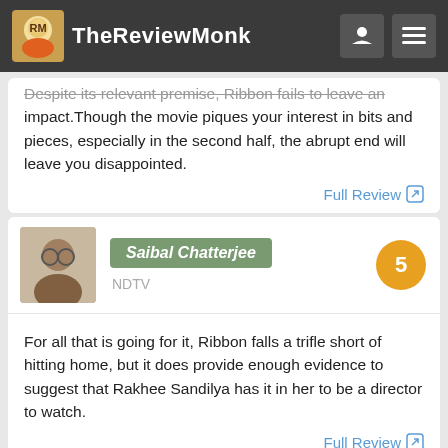TheReviewMonk
Despite its relevant premise, Ribbon fails to leave an impact.Though the movie piques your interest in bits and pieces, especially in the second half, the abrupt end will leave you disappointed.
Full Review
Saibal Chatterjee — NDTV — Score: 5
For all that is going for it, Ribbon falls a trifle short of hitting home, but it does provide enough evidence to suggest that Rakhee Sandilya has it in her to be a director to watch.
Full Review
Shilpa Jamkhandikar — Reuters